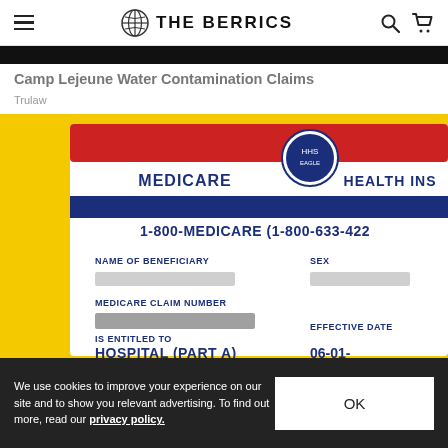THE BERRICS
Camp Lejeune Water Contamination Claims
Trulaw
[Figure (photo): Close-up photo of a Medicare Health Insurance card on a yellow background showing fields: NAME OF BENEFICIARY, MEDICARE CLAIM NUMBER (redacted), IS ENTITLED TO HOSPITAL (PART A), EFFECTIVE DATE 06-01-, phone number 1-800-MEDICARE (1-800-633-422x), and HHS eagle logo. Personal details are blurred.]
We use cookies to improve your experience on our site and to show you relevant advertising. To find out more, read our privacy policy.